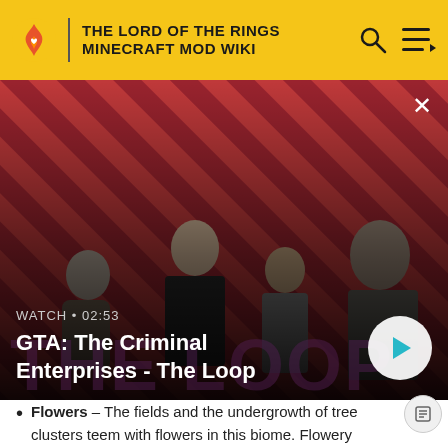THE LORD OF THE RINGS MINECRAFT MOD WIKI
[Figure (screenshot): GTA: The Criminal Enterprises promotional video thumbnail showing four characters on a red diagonal striped background. Shows WATCH • 02:53 label and play button.]
GTA: The Criminal Enterprises - The Loop
Flowers – The fields and the undergrowth of tree clusters teem with flowers in this biome. Flowery vegetation from both vanilla Minecraft (poppies, dandelions) and the LotR Mod (thistles and wheat grass) is abundantly present here.
Hills – Woodlands with very high hills and low valleys...